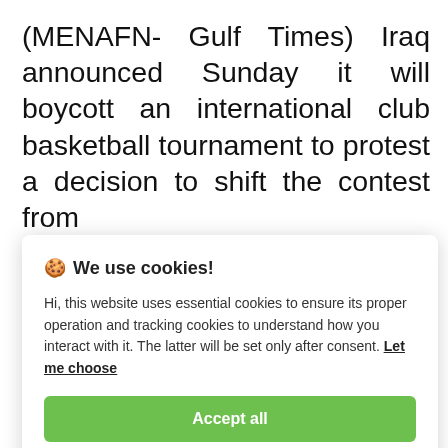(MENAFN- Gulf Times) Iraq announced Sunday it will boycott an international club basketball tournament to protest a decision to shift the contest from
🍪 We use cookies!

Hi, this website uses essential cookies to ensure its proper operation and tracking cookies to understand how you interact with it. The latter will be set only after consent. Let me choose

[Accept all]
[Reject all]
Jordan's capital Amman for security